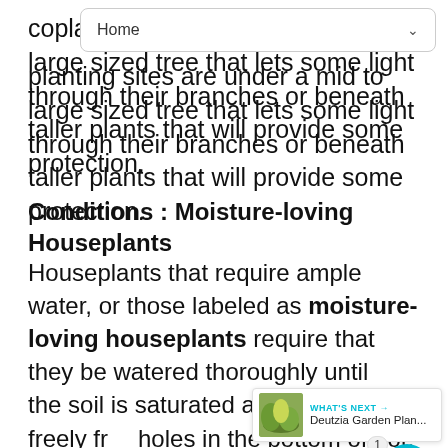Home
col planting sites are under a mid to large sized tree that lets some light through their branches or beneath taller plants that will provide some protection.
Conditions : Moisture-loving Houseplants
Houseplants that require ample water, or those labeled as moisture-loving houseplants require that they be watered thoroughly until the soil is saturated and then drains freely from holes in the bottom of pot. Re-water when potting soil becomes dry to the touch an inch or so below the soil surface.